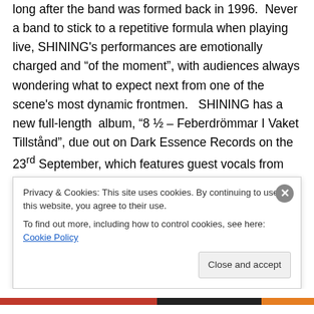long after the band was formed back in 1996. Never a band to stick to a repetitive formula when playing live, SHINING's performances are emotionally charged and "of the moment", with audiences always wondering what to expect next from one of the scene's most dynamic frontmen. SHINING has a new full-length album, "8 ½ – Feberdrömmar I Vaket Tillstånd", due out on Dark Essence Records on the 23rd September, which features guest vocals from some of the elite of Black Metal including ATTILA CSIHAR (MAYHEM, TORMENTOR), MANIAC (SKITLIV, EX-MAYHEM), GAAHL (GOR-SEED...
Privacy & Cookies: This site uses cookies. By continuing to use this website, you agree to their use.
To find out more, including how to control cookies, see here: Cookie Policy